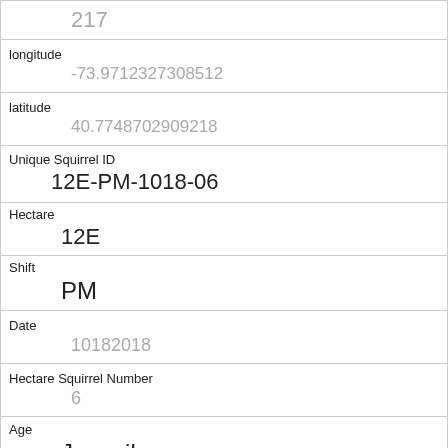| 217 |
| longitude | -73.9712327308512 |
| latitude | 40.7748702909218 |
| Unique Squirrel ID | 12E-PM-1018-06 |
| Hectare | 12E |
| Shift | PM |
| Date | 10182018 |
| Hectare Squirrel Number | 6 |
| Age | Juvenile |
| Primary Fur Color | Cinnamon |
| Highlight Fur Color |  |